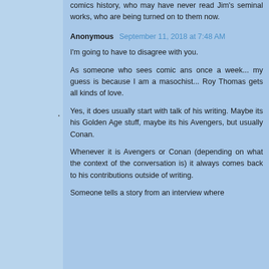comics history, who may have never read Jim's seminal works, who are being turned on to them now.
Anonymous September 11, 2018 at 7:48 AM
I'm going to have to disagree with you.

As someone who sees comic ans once a week... my guess is because I am a masochist... Roy Thomas gets all kinds of love.

Yes, it does usually start with talk of his writing. Maybe its his Golden Age stuff, maybe its his Avengers, but usually Conan.

Whenever it is Avengers or Conan (depending on what the context of the conversation is) it always comes back to his contributions outside of writing.

Someone tells a story from an interview where